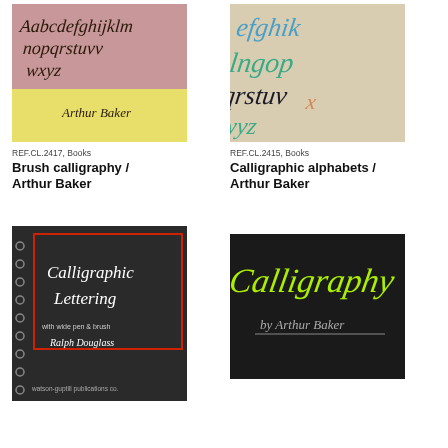[Figure (photo): Book cover of Brush calligraphy by Arthur Baker, showing calligraphic alphabet letters on pink and yellow background]
REF.CL.2417, Books
Brush calligraphy / Arthur Baker
[Figure (photo): Book cover of Calligraphic alphabets by Arthur Baker, showing colorful calligraphic letters in blue, teal and orange]
REF.CL.2415, Books
Calligraphic alphabets / Arthur Baker
[Figure (photo): Book cover of Calligraphic Lettering with wide pen and brush by Ralph Douglass, black spiral-bound book with white script text]
[Figure (photo): Book cover of Calligraphy by Arthur Baker, dark background with neon green calligraphic text]